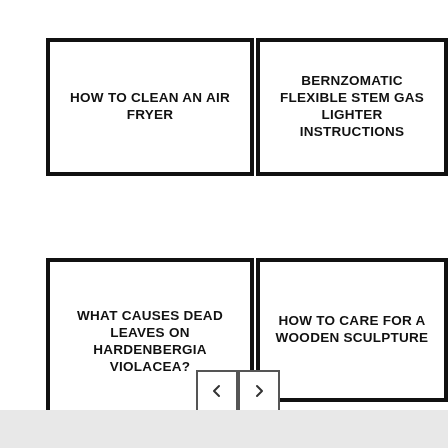HOW TO CLEAN AN AIR FRYER
BERNZOMATIC FLEXIBLE STEM GAS LIGHTER INSTRUCTIONS
WHAT CAUSES DEAD LEAVES ON HARDENBERGIA VIOLACEA?
HOW TO CARE FOR A WOODEN SCULPTURE
[Figure (other): Navigation previous button (left arrow)]
[Figure (other): Navigation next button (right arrow)]